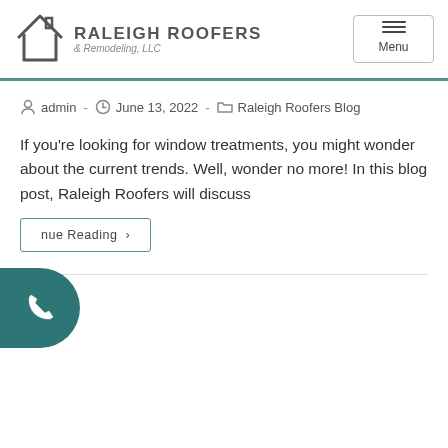[Figure (logo): Raleigh Roofers & Remodeling LLC logo with house icon and text]
admin · June 13, 2022 · Raleigh Roofers Blog
If you're looking for window treatments, you might wonder about the current trends. Well, wonder no more! In this blog post, Raleigh Roofers will discuss
Continue Reading ›